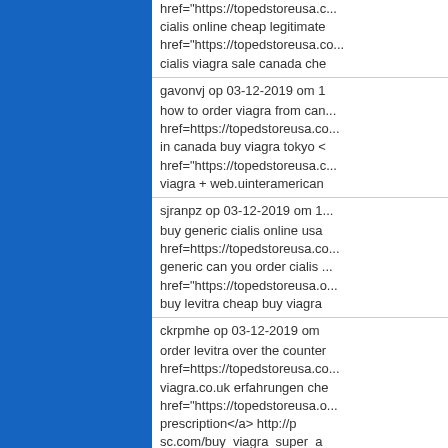[Figure (other): Blue sidebar panel on left side of page]
href="https://topedstoreusa.c... cialis online cheap legitimate href="https://topedstoreusa.co... cialis viagra sale canada che...
gavonvj op 03-12-2019 om 1... how to order viagra from can... href=https://topedstoreusa.co... in canada buy viagra tokyo < href="https://topedstoreusa.c... viagra + web.uinteramerican...
sjranpz op 03-12-2019 om 1... buy generic cialis online usa href=https://topedstoreusa.co... generic can you order cialis ... href="https://topedstoreusa.o... buy levitra cheap buy viagra...
ckrpmhe op 03-12-2019 om ... order levitra over the counter href=https://topedstoreusa.co... viagra.co.uk erfahrungen che... href="https://topedstoreusa.o... prescription&lt;/a&gt; http://p... sc.com/buy_viagra_super_a...
diouolw op 03-12-2019 om 1... buy cialis in mexico buy cialis... href=https://topedstoreusa.co... name brand cialis how to buy... href="https://topedstoreusa.o...